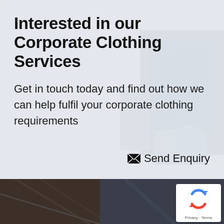Interested in our Corporate Clothing Services
Get in touch today and find out how we can help fulfil your corporate clothing requirements
✉ Send Enquiry
[Figure (photo): Dark background photo showing an industrial warehouse or facility interior, partially visible in the bottom section of the page]
[Figure (logo): Google reCAPTCHA badge widget with spinning arrows logo and Privacy - Terms text]